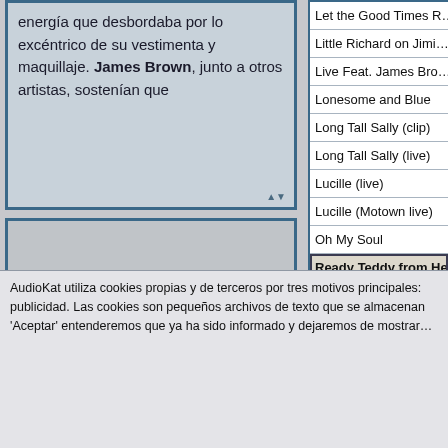energía que desbordaba por lo excéntrico de su vestimenta y maquillaje. James Brown, junto a otros artistas, sostenían que
Let the Good Times R...
Little Richard on Jimi...
Live Feat. James Bro...
Lonesome and Blue
Long Tall Sally (clip)
Long Tall Sally (live)
Lucille (live)
Lucille (Motown live)
Oh My Soul
Ready Teddy from He...
[Figure (other): Empty gray content/image placeholder area]
Seguidores
AudioKat utiliza cookies propias y de terceros por tres motivos principales: publicidad. Las cookies son pequeños archivos de texto que se almacenan 'Aceptar' entenderemos que ya ha sido informado y dejaremos de mostrar...